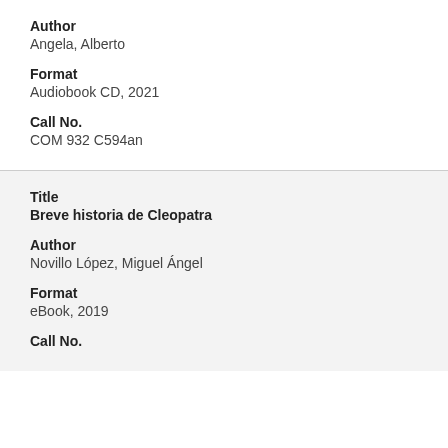Author
Angela, Alberto
Format
Audiobook CD, 2021
Call No.
COM 932 C594an
Title
Breve historia de Cleopatra
Author
Novillo López, Miguel Ángel
Format
eBook, 2019
Call No.